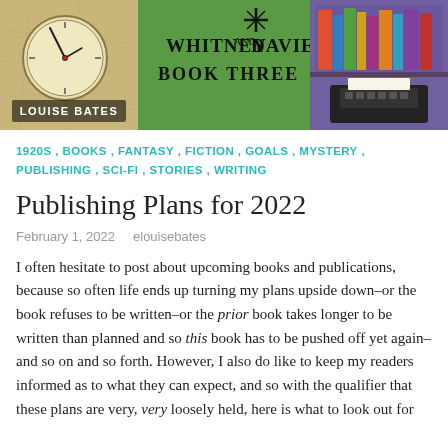[Figure (illustration): Blog header image composed of three panels: left panel shows a vintage clock face with 'LOUISE BATES' text on a map background; center panel shows 'WHITNEY AND DAVIES BOOK THREE' text on a green starry background; right panel shows a bookshelf and typewriter on a purple background.]
1920S, BOOKS, FANTASY, FICTION, GOALS, MYSTERY, PUBLISHING, SCI-FI, STORIES, WRITING
Publishing Plans for 2022
February 1, 2022   elouisebates
I often hesitate to post about upcoming books and publications, because so often life ends up turning my plans upside down–or the book refuses to be written–or the prior book takes longer to be written than planned and so this book has to be pushed off yet again–and so on and so forth. However, I also do like to keep my readers informed as to what they can expect, and so with the qualifier that these plans are very, very loosely held, here is what to look out for